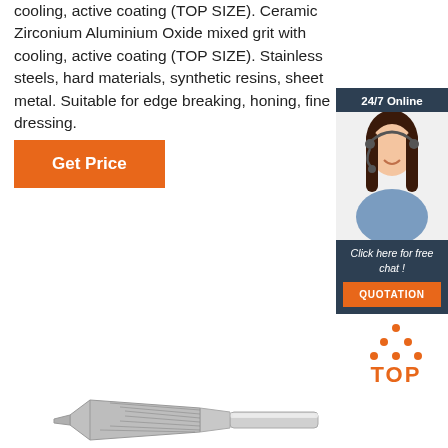cooling, active coating (TOP SIZE). Ceramic Zirconium Aluminium Oxide mixed grit with cooling, active coating (TOP SIZE). Stainless steels, hard materials, synthetic resins, sheet metal. Suitable for edge breaking, honing, fine dressing.
Get Price
[Figure (illustration): 24/7 Online chat widget with photo of woman with headset, 'Click here for free chat!' text, and orange QUOTATION button]
[Figure (logo): TOP brand logo with orange dots forming triangle above orange TOP text]
[Figure (photo): Carbide burr / rotary tool bit with tapered cylindrical head and cylindrical shank, shown horizontally]